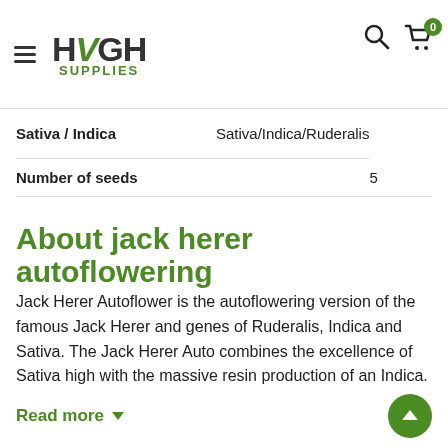HIGH SUPPLIES
| Property | Value |
| --- | --- |
| Sativa / Indica | Sativa/Indica/Ruderalis |
| Number of seeds | 5 |
About jack herer autoflowering
Jack Herer Autoflower is the autoflowering version of the famous Jack Herer and genes of Ruderalis, Indica and Sativa. The Jack Herer Auto combines the excellence of Sativa high with the massive resin production of an Indica.
Read more ▾